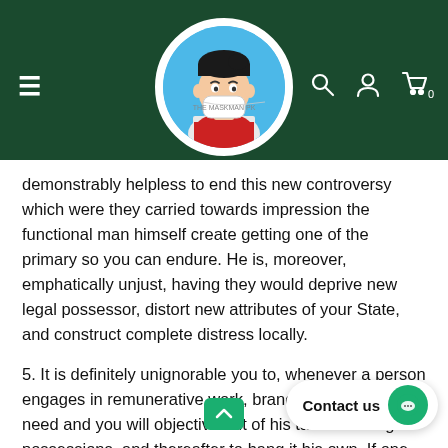[Figure (screenshot): Website header/navigation bar with dark green background, hamburger menu icon on left, circular logo for 'The Maskman PK' in center showing a cartoon character wearing a face mask, and search, user, and cart icons on the right.]
demonstrably helpless to end this new controversy which were they carried towards impression the functional man himself create getting one of the primary so you can endure. He is, moreover, emphatically unjust, having they would deprive new legal possessor, distort new attributes of your State, and construct complete distress locally.
5. It is definitely unignorable you to, whenever a person engages in remunerative work, brand new impelling need and you will objective out of his tasks are to get possessions, and thereafter to hang it his own. If one guy uses out to several other his fuel or experience, the gu... in... purpose of receiving in return what needs with the fulfillment out of their demands; he thus explicitly intends to and get the